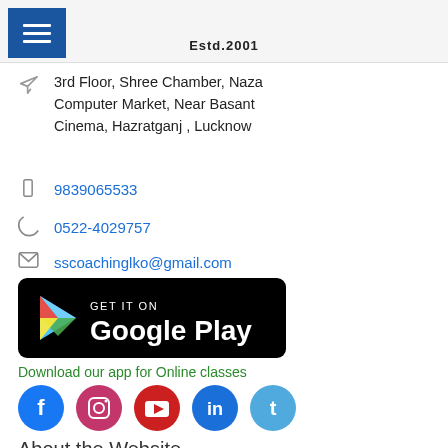Estd.2001
3rd Floor, Shree Chamber, Naza Computer Market, Near Basant Cinema, Hazratganj , Lucknow
9839065533
0522-4029757
sscoachinglko@gmail.com
[Figure (logo): Get it on Google Play badge with colorful play button arrow icon on black background]
Download our app for Online classes
[Figure (infographic): Social media icons: Facebook, Instagram, YouTube, LinkedIn, Twitter]
About the Website
SS Coaching provides information about NIOS board as well as